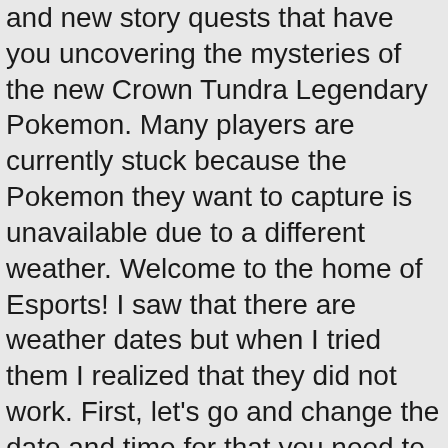and new story quests that have you uncovering the mysteries of the new Crown Tundra Legendary Pokemon. Many players are currently stuck because the Pokemon they want to capture is unavailable due to a different weather. Welcome to the home of Esports! I saw that there are weather dates but when I tried them I realized that they did not work. First, let's go and change the date and time for that you need to select the home button. sword-shield; crown-tundra; sandstorm; weather; 1 vote. These dates are different from the base game as well as Isle of Armor expansion and you can get various weather types with them. || Best Pokemon Tier List - Ranked Battles. The Crown Tundra DLC Perhaps the biggest news of the day is that October 22 nd will be the release date for The Crown Tundra, the second round of Sword and Shield DLC. Knowing what weather will be active on certain dates in the Crown Tundra is essential when trying to capture particular Pokémon. Leon - Team Lineup & Battle